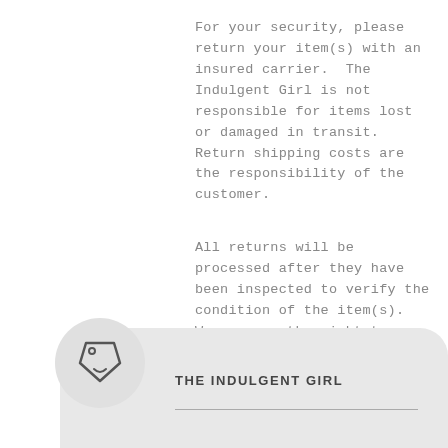For your security, please return your item(s) with an insured carrier.  The Indulgent Girl is not responsible for items lost or damaged in transit.  Return shipping costs are the responsibility of the customer.
All returns will be processed after they have been inspected to verify the condition of the item(s).  We reserve the right to refuse a refund if the item(s) have any signs of wear, alteration, misuse or damage.
THE INDULGENT GIRL